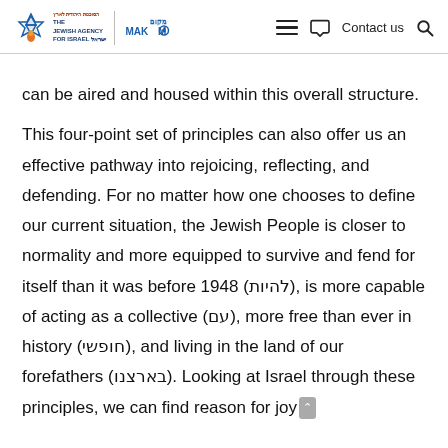The Jewish Agency for Israel | MAKOM | Contact us
can be aired and housed within this overall structure.
This four-point set of principles can also offer us an effective pathway into rejoicing, reflecting, and defending. For no matter how one chooses to define our current situation, the Jewish People is closer to normality and more equipped to survive and fend for itself than it was before 1948 (להיות), is more capable of acting as a collective (עם), more free than ever in history (חופשי), and living in the land of our forefathers (בארצנו). Looking at Israel through these principles, we can find reason for joy